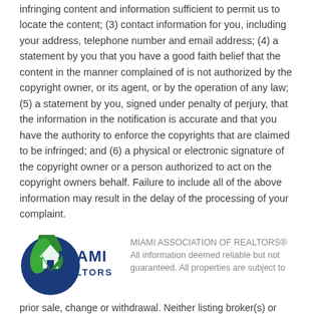infringing content and information sufficient to permit us to locate the content; (3) contact information for you, including your address, telephone number and email address; (4) a statement by you that you have a good faith belief that the content in the manner complained of is not authorized by the copyright owner, or its agent, or by the operation of any law; (5) a statement by you, signed under penalty of perjury, that the information in the notification is accurate and that you have the authority to enforce the copyrights that are claimed to be infringed; and (6) a physical or electronic signature of the copyright owner or a person authorized to act on the copyright owners behalf. Failure to include all of the above information may result in the delay of the processing of your complaint.
[Figure (logo): Miami Association of Realtors logo with green and blue circular emblem and bold MIAMI REALTORS text]
MIAMI ASSOCIATION OF REALTORS® All information deemed reliable but not guaranteed. All properties are subject to prior sale, change or withdrawal. Neither listing broker(s) or information provider(s) shall be responsible for any typographical errors, misinformation, misprints and shall be held totally harmless. Listing(s) information is provided for consumer's personal, non-commercial use and may not be used for any